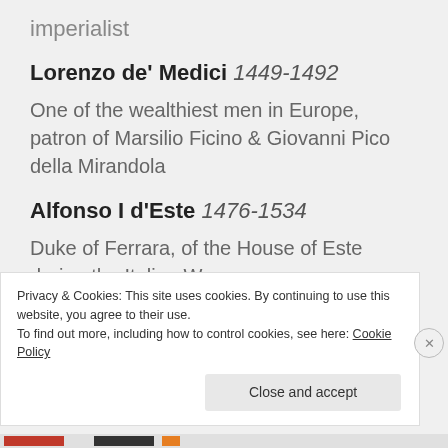imperialist
Lorenzo de' Medici 1449-1492
One of the wealthiest men in Europe, patron of Marsilio Ficino & Giovanni Pico della Mirandola
Alfonso I d'Este 1476-1534
Duke of Ferrara, of the House of Este during the Italian Wars
Privacy & Cookies: This site uses cookies. By continuing to use this website, you agree to their use.
To find out more, including how to control cookies, see here: Cookie Policy
Close and accept